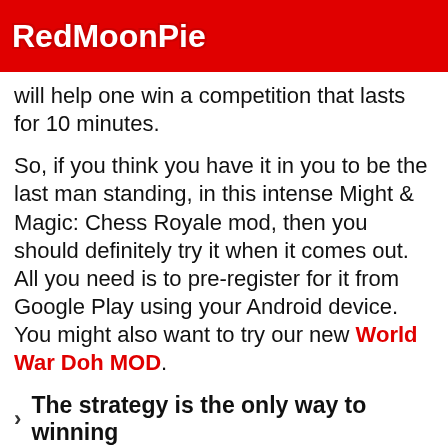RedMoonPie
will help one win a competition that lasts for 10 minutes.
So, if you think you have it in you to be the last man standing, in this intense Might & Magic: Chess Royale mod, then you should definitely try it when it comes out. All you need is to pre-register for it from Google Play using your Android device. You might also want to try our new World War Doh MOD.
The strategy is the only way to winning
As everyone is quite aware of the fact that the original chess game is based completely on strategy as that is how you can win. Similar to that in this game too, one will have to come up with